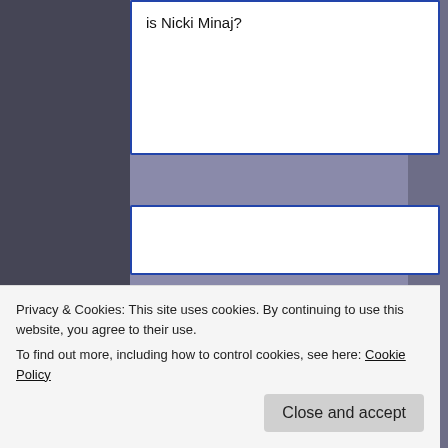Is Nicki Minaj?
Goodreads
God Save the Queens: The Essential History of Women in Hip Hop
[Figure (illustration): Book cover for 'God Save the Queens' - teal/green background with decorative crown and text]
Privacy & Cookies: This site uses cookies. By continuing to use this website, you agree to their use.
To find out more, including how to control cookies, see here: Cookie Policy
O is for Old School: A Hip Hop